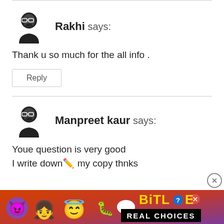[Figure (illustration): User avatar icon - person with glasses and beard, black silhouette]
Rakhi says:
Thank u so much for the all info .
Reply
[Figure (illustration): User avatar icon - person with glasses and beard, black silhouette]
Manpreet kaur says:
Youe question is very good
I write down✏️ my copy thnks
[Figure (screenshot): BitLife advertisement banner with emojis and 'REAL CHOICES' text]